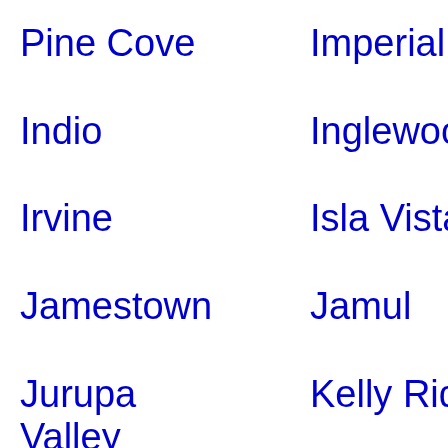Pine Cove
Imperial
Beach
India
Indio
Inglewood
Interlaken
Ione
Irvine
Isla Vista
Ivanhoe
Jacks
Jamestown
Jamul
Joshua Tree
Julian
Jurupa Valley
Kelly Ridge
Kelseyville
Kenn
Kensington
Kentfield
Kerman
Kettl City
Keyes
King City
Kings Beach
Kings
La Canada
La Crescenta